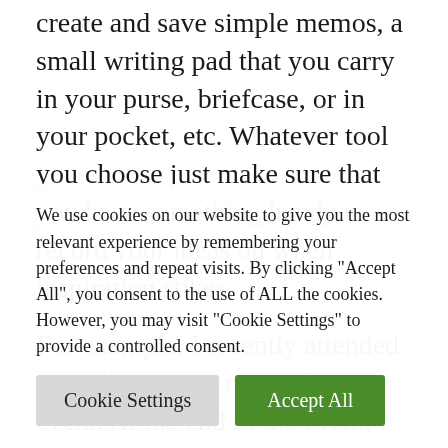create and save simple memos, a small writing pad that you carry in your purse, briefcase, or in your pocket, etc. Whatever tool you choose just make sure that you have something handy to record your ideas on when inspiration stikes.
For example, I recently attended a small business networking event. At the end of the event, I spoke with a business owner who doesn't have a website. When I asked him why
We use cookies on our website to give you the most relevant experience by remembering your preferences and repeat visits. By clicking "Accept All", you consent to the use of ALL the cookies. However, you may visit "Cookie Settings" to provide a controlled consent.